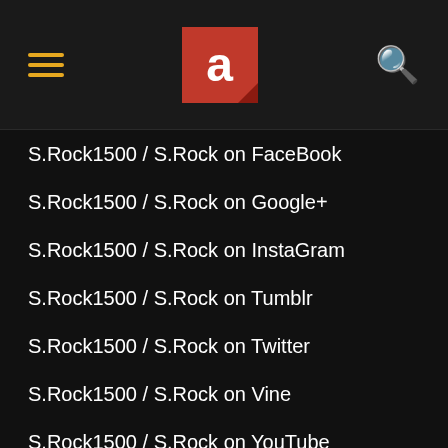a [logo] [hamburger] [search]
S.Rock1500 / S.Rock on FaceBook
S.Rock1500 / S.Rock on Google+
S.Rock1500 / S.Rock on InstaGram
S.Rock1500 / S.Rock on Tumblr
S.Rock1500 / S.Rock on Twitter
S.Rock1500 / S.Rock on Vine
S.Rock1500 / S.Rock on YouTube
SAAB - SAAB on Amazon
SAAB - SAAB on Google Play
SAAB - SAAB on iTunes